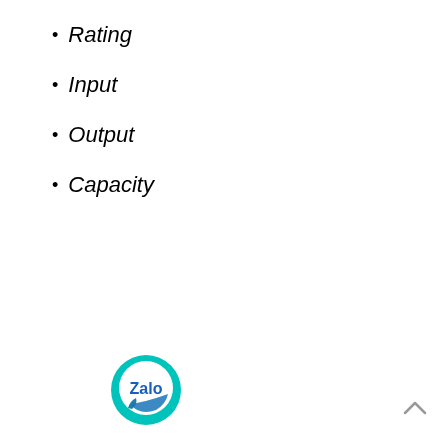Rating
Input
Output
Capacity
[Figure (logo): Zalo messaging app logo — teal circular badge with white speech bubble and 'Zalo' text in blue]
[Figure (other): Up/back-to-top arrow chevron icon in grey]